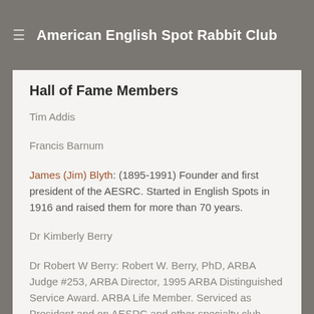American English Spot Rabbit Club
Hall of Fame Members
Tim Addis
Francis Barnum
James (Jim) Blyth: (1895-1991) Founder and first president of the AESRC.  Started in English Spots in 1916 and raised them for more than 70 years.
Dr Kimberly Berry
Dr Robert W Berry: Robert W. Berry, PhD, ARBA Judge #253, ARBA Director, 1995 ARBA Distinguished Service Award. ARBA Life Member. Serviced as President and on AESRC and other specialty club Boards. Won Best of